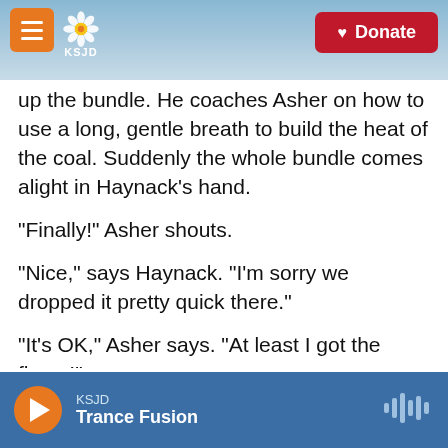KSJD | Donate
up the bundle. He coaches Asher on how to use a long, gentle breath to build the heat of the coal. Suddenly the whole bundle comes alight in Haynack's hand.
"Finally!" Asher shouts.
"Nice," says Haynack. "I'm sorry we dropped it pretty quick there."
"It's OK," Asher says. "At least I got the flame!"
Asher's pride is evident. A little fire to help him make it through the rest of his week at Zoom
KSJD
Trance Fusion